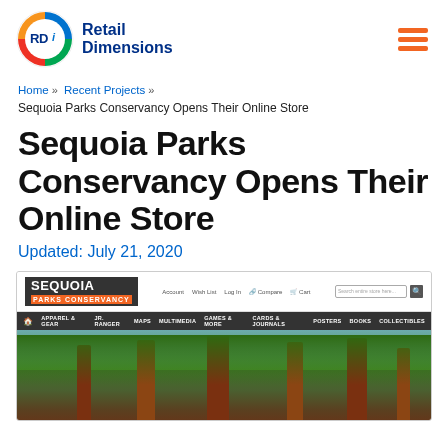[Figure (logo): Retail Dimensions (RDi) logo with circular icon and hamburger menu icon]
Home » Recent Projects » Sequoia Parks Conservancy Opens Their Online Store
Sequoia Parks Conservancy Opens Their Online Store
Updated: July 21, 2020
[Figure (screenshot): Screenshot of the Sequoia Parks Conservancy online store website showing the header with logo, navigation bar with categories (Apparel & Gear, Jr. Ranger, Maps, Multimedia, Games & More, Cards & Journals, Posters, Books, Collectibles), and a hero image of giant sequoia trees in a forest]